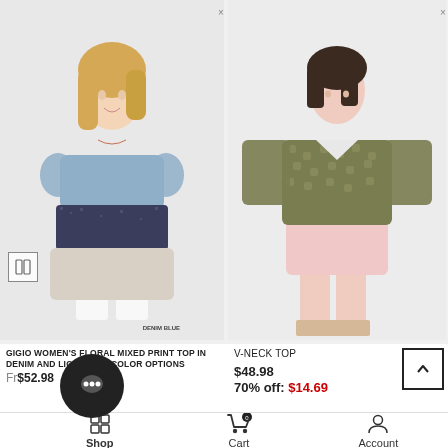[Figure (photo): Woman wearing a floral mixed print top in denim blue and light pink, with white pants. Label 'DENIM BLUE' in bottom right.]
[Figure (photo): Woman wearing a V-Neck Top with olive green lace/sequin pattern and light pink mini skirt with lace-up sandals.]
GIGIO WOMEN'S FLORAL MIXED PRINT TOP IN DENIM AND LIGHT PINK COLOR OPTIONS
From $52.98
V-NECK TOP
$48.98
70% off: $14.69
Shop  Cart  Account